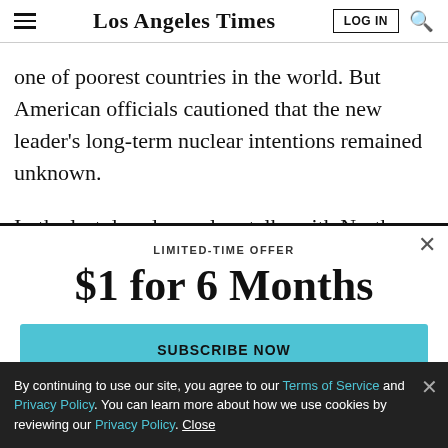Los Angeles Times
one of poorest countries in the world. But American officials cautioned that the new leader's long-term nuclear intentions remained unknown.
In the last decade, nuclear talks with North Korea have
LIMITED-TIME OFFER
$1 for 6 Months
SUBSCRIBE NOW
By continuing to use our site, you agree to our Terms of Service and Privacy Policy. You can learn more about how we use cookies by reviewing our Privacy Policy. Close